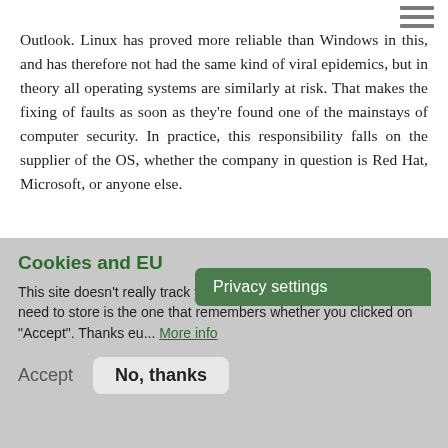[navigation bar with hamburger menu]
Outlook. Linux has proved more reliable than Windows in this, and has therefore not had the same kind of viral epidemics, but in theory all operating systems are similarly at risk. That makes the fixing of faults as soon as they're found one of the mainstays of computer security. In practice, this responsibility falls on the supplier of the OS, whether the company in question is Red Hat, Microsoft, or anyone else.
[Figure (screenshot): Privacy settings button/popup overlay in dark green]
Cookies and EU
This site doesn't really track you with cookies. The only cookie we need to store is the one that remembers whether you clicked on "Accept". Thanks eu... More info
Accept   No, thanks